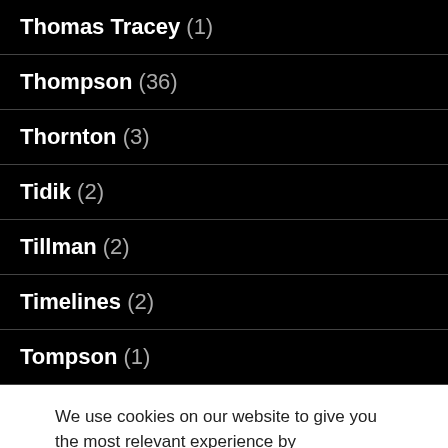Thomas Tracey (1)
Thompson (36)
Thornton (3)
Tidik (2)
Tillman (2)
Timelines (2)
Tompson (1)
We use cookies on our website to give you the most relevant experience by remembering your preferences and repeat visits. By clicking “Accept”, you consent to the use of ALL the cookies.
Do not sell my personal information.
Cookie settings  ACCEPT